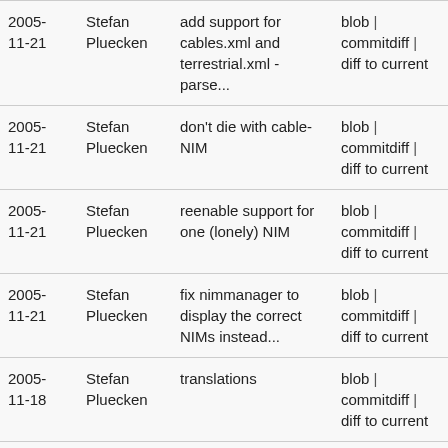| Date | Author | Message | Links |
| --- | --- | --- | --- |
| 2005-11-21 | Stefan Pluecken | add support for cables.xml and terrestrial.xml - parse... | blob | commitdiff | diff to current |
| 2005-11-21 | Stefan Pluecken | don't die with cable-NIM | blob | commitdiff | diff to current |
| 2005-11-21 | Stefan Pluecken | reenable support for one (lonely) NIM | blob | commitdiff | diff to current |
| 2005-11-21 | Stefan Pluecken | fix nimmanager to display the correct NIMs instead... | blob | commitdiff | diff to current |
| 2005-11-18 | Stefan Pluecken | translations | blob | commitdiff | diff to current |
| 2005-11-18 | Stefan Pluecken | translation | blob | commitdiff | |